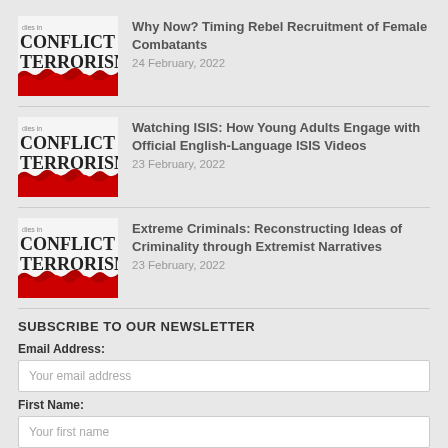[Figure (illustration): Thumbnail image of a journal cover reading 'Studies in CONFLICT & TERRORISM' with red torn-paper design at bottom]
Why Now? Timing Rebel Recruitment of Female Combatants
24 February, 2022
[Figure (illustration): Thumbnail image of a journal cover reading 'Studies in CONFLICT & TERRORISM' with red torn-paper design at bottom]
Watching ISIS: How Young Adults Engage with Official English-Language ISIS Videos
23 February, 2022
[Figure (illustration): Thumbnail image of a journal cover reading 'Studies in CONFLICT & TERRORISM' with red torn-paper design at bottom]
Extreme Criminals: Reconstructing Ideas of Criminality through Extremist Narratives
23 February, 2022
SUBSCRIBE TO OUR NEWSLETTER
Email Address:
Your email address
First Name:
Your first name